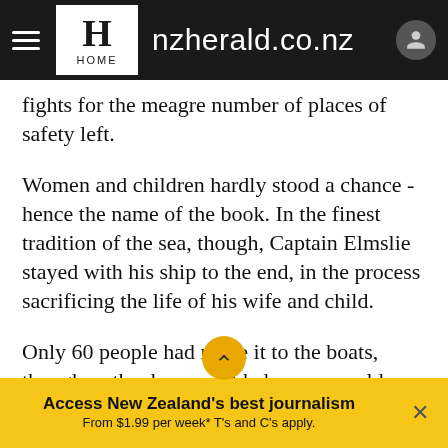nzherald.co.nz
fights for the meagre number of places of safety left.
Women and children hardly stood a chance - hence the name of the book. In the finest tradition of the sea, though, Captain Elmslie stayed with his ship to the end, in the process sacrificing the life of his wife and child.
Only 60 people had made it to the boats, though as the days unfolded many would have wished they had come to a quick end, rather than endure the torture of
Access New Zealand's best journalism
From $1.99 per week* T's and C's apply.